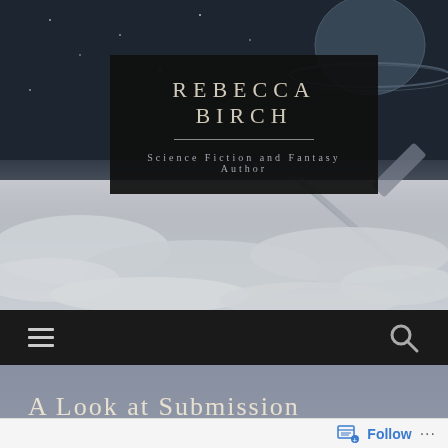[Figure (screenshot): Hero banner background with space/planet imagery and clouds, dark science fiction themed]
REBECCA BIRCH
Science Fiction and Fantasy Author
[Figure (other): Navigation bar with hamburger menu icon on left and search icon on right]
A Look at Submission
Follow ...